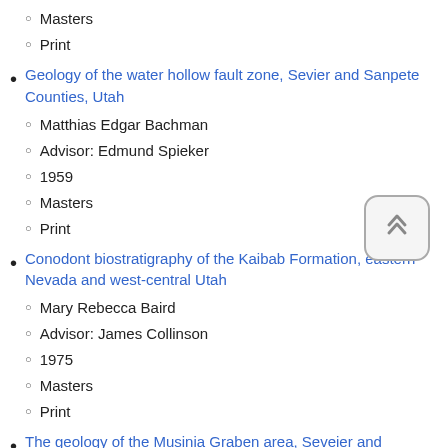Masters
Print
Geology of the water hollow fault zone, Sevier and Sanpete Counties, Utah
Matthias Edgar Bachman
Advisor: Edmund Spieker
1959
Masters
Print
Conodont biostratigraphy of the Kaibab Formation, eastern Nevada and west-central Utah
Mary Rebecca Baird
Advisor: James Collinson
1975
Masters
Print
The geology of the Musinia Graben area, Seveier and Sanpete counties, Utah